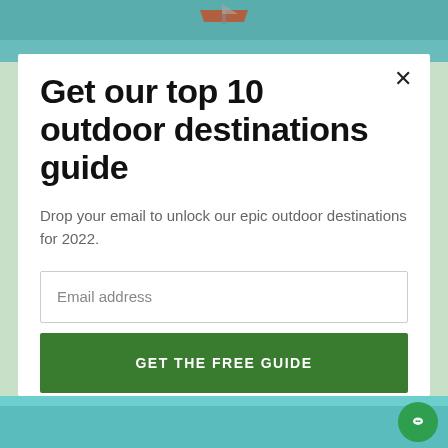[Figure (photo): Top portion of a webpage background showing water/ocean with a partial view of what appears to be a paddleboard or kayak]
Get our top 10 outdoor destinations guide
Drop your email to unlock our epic outdoor destinations for 2022.
Email address
GET THE FREE GUIDE
[Figure (photo): Bottom portion of webpage showing teal/turquoise water background with a green circular chat widget in the bottom right corner]